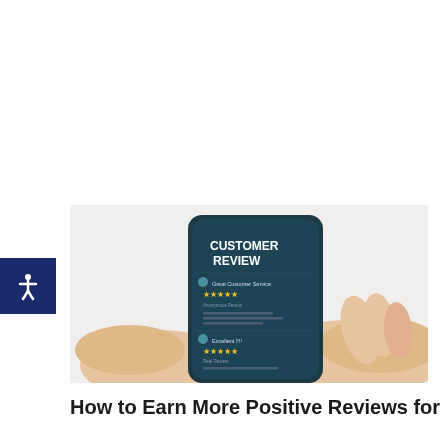[Figure (photo): A pair of hands holding a smartphone displaying a 'CUSTOMER REVIEW' screen with star ratings and review text, on a white background.]
How to Earn More Positive Reviews for